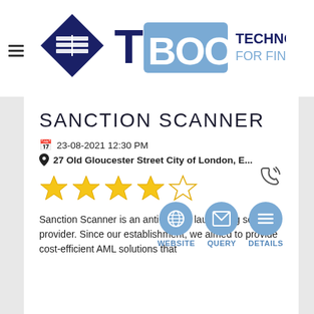[Figure (logo): TBook Technology for Finance logo with hamburger menu icon]
SANCTION SCANNER
📅 23-08-2021 12:30 PM
📍 27 Old Gloucester Street City of London, E...
[Figure (other): 5 yellow stars rating]
[Figure (other): Phone icon, website globe button, query envelope button, details list button]
Sanction Scanner is an anti-money laundering solutions provider. Since our establishment, we aimed to provide cost-efficient AML solutions that